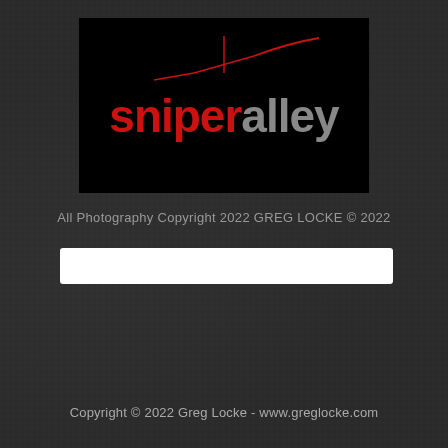[Figure (logo): Sniper Alley logo: black rectangle background with red 'sniper' text and gray 'alley' text, with a red line graphic above forming a crosshair/scope shape]
All Photography Copyright 2022 GREG LOCKE © 2022
[Figure (other): White horizontal search bar / input field]
Copyright © 2022 Greg Locke - www.greglocke.com